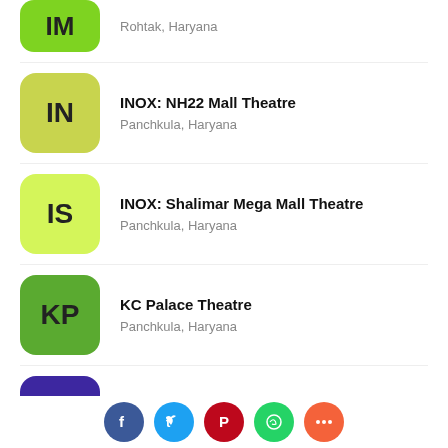IM — Rohtak, Haryana
INOX: NH22 Mall Theatre — Panchkula, Haryana
INOX: Shalimar Mega Mall Theatre — Panchkula, Haryana
KC Palace Theatre — Panchkula, Haryana
Masti 7D: Crown Interiorz Mall Theatre — Faridabad, Haryana
[Figure (infographic): Social sharing buttons row: Facebook (blue), Twitter (light blue), Pinterest (red), WhatsApp (green), More/Plus (orange-red)]